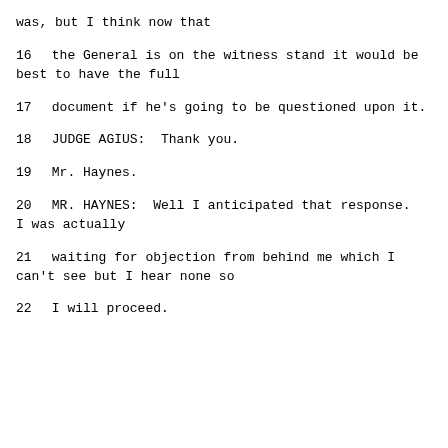was, but I think now that
16    the General is on the witness stand it would be best to have the full
17    document if he's going to be questioned upon it.
18         JUDGE AGIUS:  Thank you.
19         Mr. Haynes.
20         MR. HAYNES:  Well I anticipated that response.  I was actually
21    waiting for objection from behind me which I can't see but I hear none so
22    I will proceed.